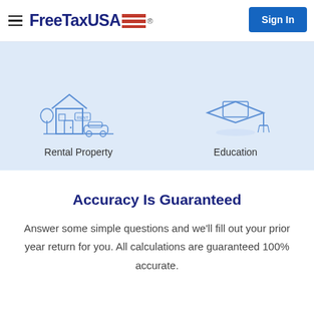FreeTaxUSA — Sign In
[Figure (illustration): Rental Property icon: a small house with a 'RENT' sign and a car, drawn in blue outline style]
Rental Property
[Figure (illustration): Education icon: a graduation cap drawn in blue outline style]
Education
Accuracy Is Guaranteed
Answer some simple questions and we'll fill out your prior year return for you. All calculations are guaranteed 100% accurate.